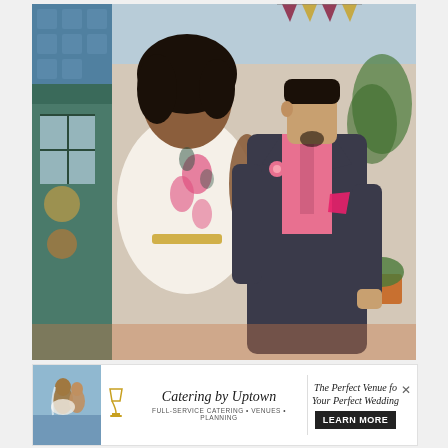[Figure (photo): A couple posing together outdoors. A woman in a white floral dress with pink and dark teal flower print stands next to a man in a dark charcoal suit with a pink shirt and pink boutonniere and pocket square. They are embracing and smiling at the camera, with a colorful outdoor venue/shop setting in the background.]
[Figure (other): Advertisement banner for 'Catering by Uptown' with tagline 'Full-Service Catering • Venues • Planning', text 'The Perfect Venue for Your Perfect Wedding', and a 'LEARN MORE' button. Features a small photo of a couple and a goblet icon.]